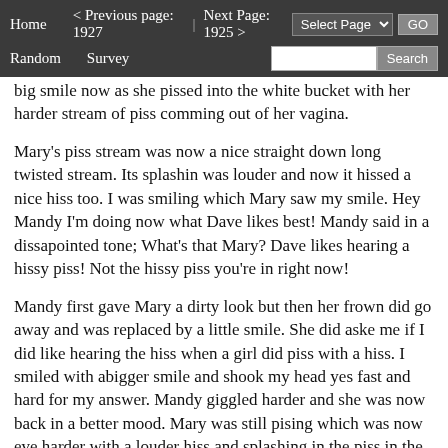Home   < Previous page: 1927  |  Next Page: 1925 >   Random   Survey   Select Page  GO   Search
big smile now as she pissed into the white bucket with her harder stream of piss comming out of her vagina.
Mary's piss stream was now a nice straight down long twisted stream. Its splashin was louder and now it hissed a nice hiss too. I was smiling which Mary saw my smile. Hey Mandy I'm doing now what Dave likes best! Mandy said in a dissapointed tone; What's that Mary? Dave likes hearing a hissy piss! Not the hissy piss you're in right now!
Mandy first gave Mary a dirty look but then her frown did go away and was replaced by a little smile. She did aske me if I did like hearing the hiss when a girl did piss with a hiss. I smiled with abigger smile and shook my head yes fast and hard for my answer. Mandy giggled harder and she was now back in a better mood. Mary was still pising which was now eve harder with a louder hiss and splashing in the piss in the white bucket.